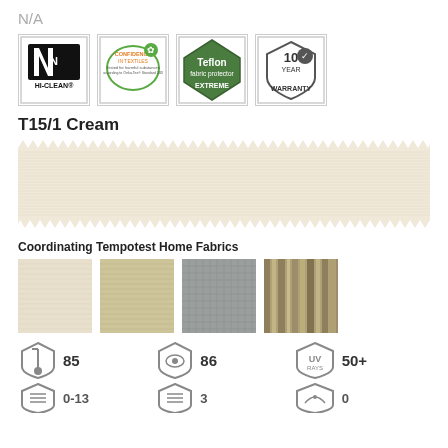N/A
[Figure (logo): Four certification badges: HI-CLEAN, Confidence in Textiles (Oeko-Tex), Teflon Extreme, 10 Year Warranty]
T15/1 Cream
[Figure (photo): Cream-colored fabric swatch with zigzag cut edges, showing fine horizontal ribbed texture]
Coordinating Tempotest Home Fabrics
[Figure (photo): Four coordinating fabric swatches: pale cream, light tan, medium gray solid, and tan/brown vertical stripe pattern]
[Figure (infographic): Spec icons row: shield with thermometer icon showing 85, shield with eye icon showing 86, shield with UV rays icon showing 50+]
[Figure (infographic): Second spec icons row with additional specification values (partially visible)]